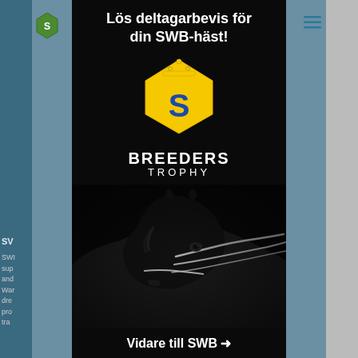[Figure (illustration): Breeders Trophy promotional popup/modal on a website. Dark black background with Swedish text 'Lös deltagarbevis för din SWB-häst!' in white bold at the top. Below is the Breeders Trophy logo: a yellow pentagon/shield shape with a crown on top and a blue letter S in the center. Below the logo the text 'BREEDERS TROPHY' in white bold capital letters. The lower portion shows a dramatic black-and-white close-up photograph of a black dressage horse wearing a bridle, looking sideways. At the bottom a call-to-action button text 'Vidare till SWB ➜' in white bold text on black background.]
Lös deltagarbevis för din SWB-häst!
Vidare till SWB →